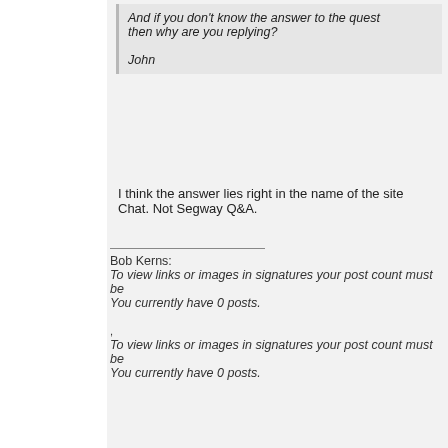And if you don't know the answer to the quest then why are you replying?

John
I think the answer lies right in the name of the site Chat. Not Segway Q&A.
Bob Kerns:
To view links or images in signatures your post count must be... You currently have 0 posts.
To view links or images in signatures your post count must be... You currently have 0 posts.
Obviously, we can't have infinite voltage, or the un tear itself to shreds, and we wouldn't be discussing
Closed  Page 2 of 2  <  1  2  ▼
« Previous Thread | Next Thread »
Currently Active Users Viewing This Thread: 1 (0 members and 1 guests)